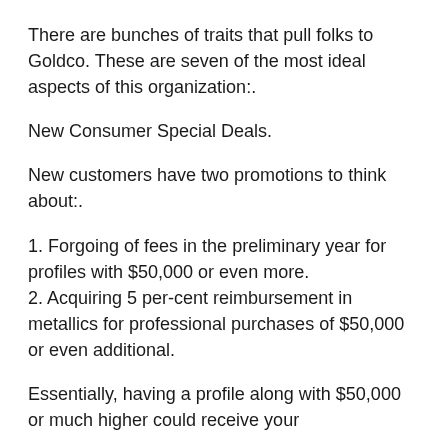There are bunches of traits that pull folks to Goldco. These are seven of the most ideal aspects of this organization:.
New Consumer Special Deals.
New customers have two promotions to think about:.
1. Forgoing of fees in the preliminary year for profiles with $50,000 or even more.
2. Acquiring 5 per-cent reimbursement in metallics for professional purchases of $50,000 or even additional.
Essentially, having a profile along with $50,000 or much higher could receive your